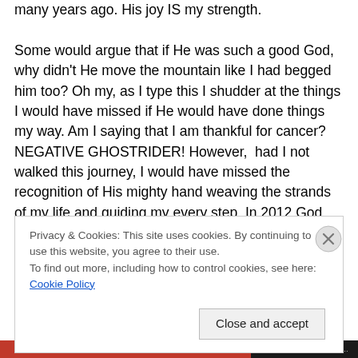many years ago. His joy IS my strength. Some would argue that if He was such a good God, why didn't He move the mountain like I had begged him too? Oh my, as I type this I shudder at the things I would have missed if He would have done things my way. Am I saying that I am thankful for cancer? NEGATIVE GHOSTRIDER! However, had I not walked this journey, I would have missed the recognition of His mighty hand weaving the strands of my life and guiding my every step. In 2012 God sparked a desire in me for the outdoors, and after my first hike in June 2013, a passion for hiking and adventure was
Privacy & Cookies: This site uses cookies. By continuing to use this website, you agree to their use.
To find out more, including how to control cookies, see here: Cookie Policy
Close and accept